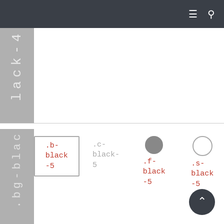Navigation bar with menu and search icons
l a c k - 4
. b g - b l a c k
.b-black-5
.c-black-5
.f-black-5
.s-black-5